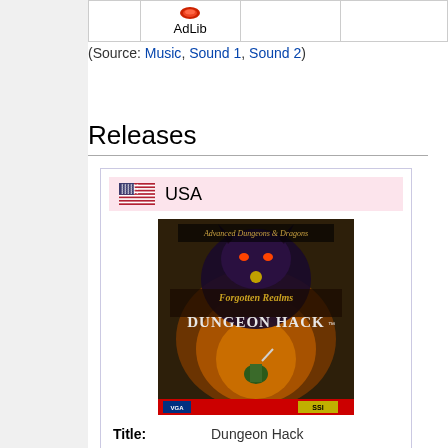|  | AdLib |  |  |
| --- | --- | --- | --- |
|  | AdLib |  |  |
(Source: Music, Sound 1, Sound 2)
Releases
[Figure (illustration): USA release card for Dungeon Hack (DOS). Shows US flag and game cover art with a troll/monster on dark fantasy background with 'Forgotten Realms: Dungeon Hack' text and SSI logo.]
Title: Dungeon Hack
Platform: DOS
Released: 1993-??-??
Publisher: Strategic Simulations, Inc.